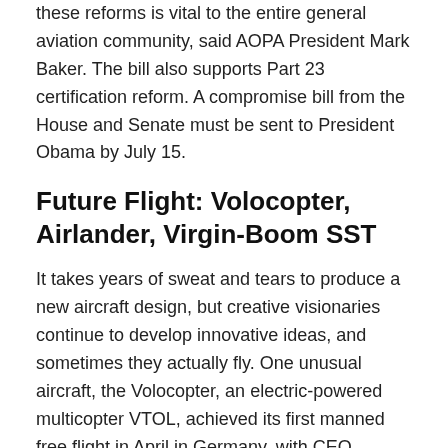these reforms is vital to the entire general aviation community, said AOPA President Mark Baker. The bill also supports Part 23 certification reform. A compromise bill from the House and Senate must be sent to President Obama by July 15.
Future Flight: Volocopter, Airlander, Virgin-Boom SST
It takes years of sweat and tears to produce a new aircraft design, but creative visionaries continue to develop innovative ideas, and sometimes they actually fly. One unusual aircraft, the Volocopter, an electric-powered multicopter VTOL, achieved its first manned free flight in April in Germany, with CEO Alexander Zosel as pilot. “The flight was totally awesome,” Zosel said. Also, the unique Airlander lighter-than-air transport vehicle, 302 feet long, is now fully assembled, Hybrid Air Vehicles, based in the U.K., announced in March, and flight tests will start soon. The ship was shown off to